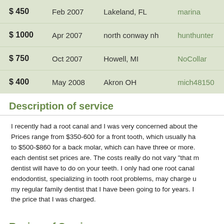| Amount | Date | Location | User |
| --- | --- | --- | --- |
| $ 450 | Feb 2007 | Lakeland, FL | marina |
| $ 1000 | Apr 2007 | north conway nh | hunthunter |
| $ 750 | Oct 2007 | Howell, MI | NoCollar |
| $ 400 | May 2008 | Akron OH | mich48150 |
Description of service
I recently had a root canal and I was very concerned about the cost. Prices range from $350-600 for a front tooth, which usually has one root, to $500-$860 for a back molar, which can have three or more. How much each dentist set prices are. The costs really do not vary "that much" dentist will have to do on your teeth. I only had one root canal and an endodontist, specializing in tooth root problems, may charge more than my regular family dentist that I have been going to for years. I feel the price that I was charged.
Review of Service
Having a root canal preformed is never a good experience, but prices available. I would recommend my dentist to anyone who done.